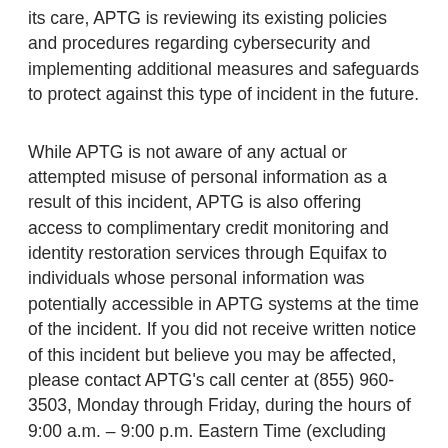its care, APTG is reviewing its existing policies and procedures regarding cybersecurity and implementing additional measures and safeguards to protect against this type of incident in the future.
While APTG is not aware of any actual or attempted misuse of personal information as a result of this incident, APTG is also offering access to complimentary credit monitoring and identity restoration services through Equifax to individuals whose personal information was potentially accessible in APTG systems at the time of the incident. If you did not receive written notice of this incident but believe you may be affected, please contact APTG's call center at (855) 960-3503, Monday through Friday, during the hours of 9:00 a.m. – 9:00 p.m. Eastern Time (excluding major holidays). The call center will verify whether you are eligible for services.
When You Are Enrolled: individuals may from time to time...